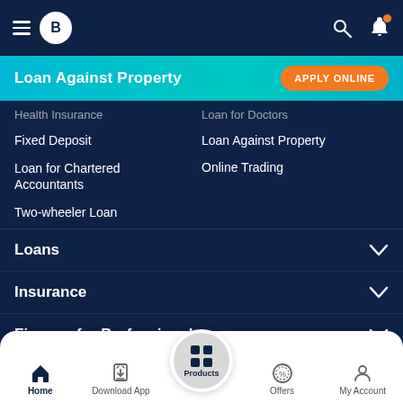Bajaj Finserv App - Navigation Header
Loan Against Property
Health Insurance
Loan for Doctors
Fixed Deposit
Loan Against Property
Loan for Chartered Accountants
Online Trading
Two-wheeler Loan
Loans
Insurance
Finance for Professionals
Investments
Pocket Insurance
Home | Download App | Products | Offers | My Account